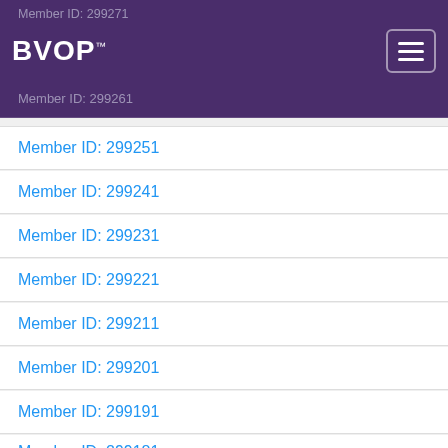Member ID: 299271
BVOP
Member ID: 299261
Member ID: 299251
Member ID: 299241
Member ID: 299231
Member ID: 299221
Member ID: 299211
Member ID: 299201
Member ID: 299191
Member ID: 299181